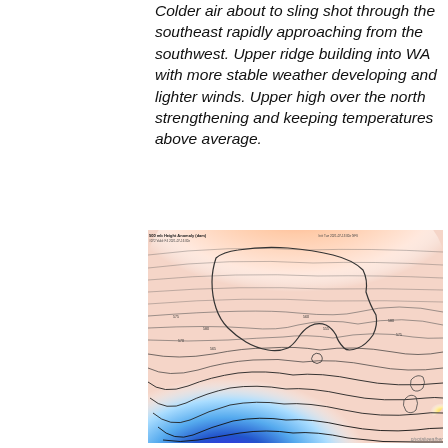Colder air about to sling shot through the southeast rapidly approaching from the southwest. Upper ridge building into WA with more stable weather developing and lighter winds. Upper high over the north strengthening and keeping temperatures above average.
[Figure (map): 500 mb Height Anomaly (dam) weather map showing Australia and surrounding region. Contour lines overlaid on a color gradient map with red/pink indicating positive anomalies in the north and blue/purple indicating strong negative anomalies to the south, representing a deep trough south of Australia. Title: 500 mb Height Anomaly (dam), initialized Tue 2021-07-13 00z GFS, F072 Valid: F4 2021-07-16 00z]